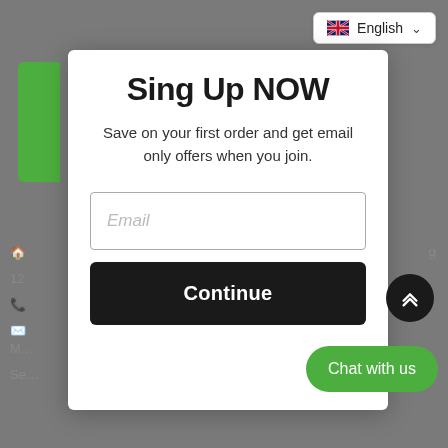[Figure (screenshot): Language selector button with UK flag and English label in top right corner of modal]
Sing Up NOW
Save on your first order and get email only offers when you join.
Email
Continue
Chat with us